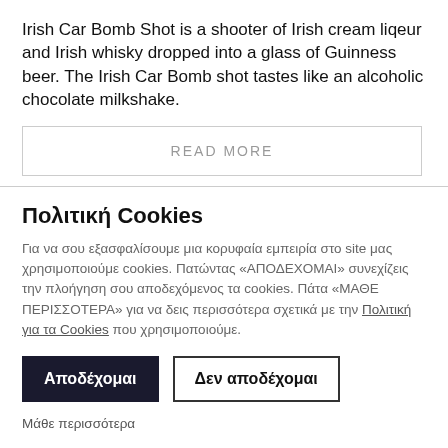Irish Car Bomb Shot is a shooter of Irish cream liqeur and Irish whisky dropped into a glass of Guinness beer. The Irish Car Bomb shot tastes like an alcoholic chocolate milkshake.
READ MORE
Πολιτική Cookies
Για να σου εξασφαλίσουμε μια κορυφαία εμπειρία στο site μας χρησιμοποιούμε cookies. Πατώντας «ΑΠΟΔΕΧΟΜΑΙ» συνεχίζεις την πλοήγηση σου αποδεχόμενος τα cookies. Πάτα «ΜΑΘΕ ΠΕΡΙΣΣΟΤΕΡΑ» για να δεις περισσότερα σχετικά με την Πολιτική για τα Cookies που χρησιμοποιούμε.
Αποδέχομαι
Δεν αποδέχομαι
Μάθε περισσότερα